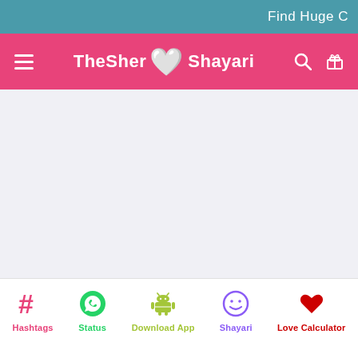Find Huge C
TheSher Shayari
[Figure (screenshot): TheSher Shayari website screenshot showing pink navigation bar with logo, teal top bar, empty main content area with light purple background, and bottom navigation bar with Hashtags, Status, Download App, Shayari, and Love Calculator icons]
Hashtags | Status | Download App | Shayari | Love Calculator